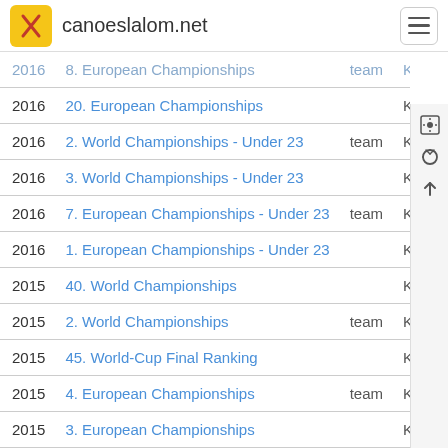canoeslalom.net
| Year | Event | Team | Cat |
| --- | --- | --- | --- |
| 2016 | 8. European Championships | team | K1 |
| 2016 | 20. European Championships |  | K1 |
| 2016 | 2. World Championships - Under 23 | team | K1 |
| 2016 | 3. World Championships - Under 23 |  | K1 |
| 2016 | 7. European Championships - Under 23 | team | K1 |
| 2016 | 1. European Championships - Under 23 |  | K1 |
| 2015 | 40. World Championships |  | K1 |
| 2015 | 2. World Championships | team | K1 |
| 2015 | 45. World-Cup Final Ranking |  | K1 |
| 2015 | 4. European Championships | team | K1 |
| 2015 | 3. European Championships |  | K1 |
| 2015 | 8. World Championships - Under 23 | team | K1 |
| 2015 | 3. World Championships - Under 23 |  | K1 |